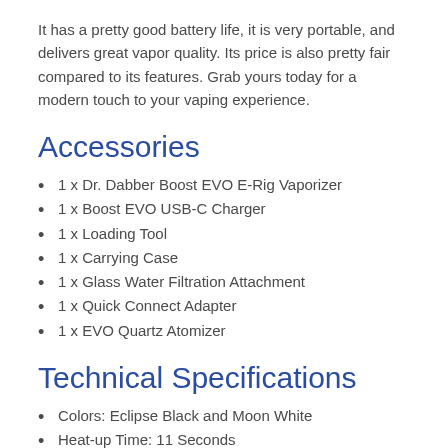It has a pretty good battery life, it is very portable, and delivers great vapor quality. Its price is also pretty fair compared to its features. Grab yours today for a modern touch to your vaping experience.
Accessories
1 x Dr. Dabber Boost EVO E-Rig Vaporizer
1 x Boost EVO USB-C Charger
1 x Loading Tool
1 x Carrying Case
1 x Glass Water Filtration Attachment
1 x Quick Connect Adapter
1 x EVO Quartz Atomizer
Technical Specifications
Colors: Eclipse Black and Moon White
Heat-up Time: 11 Seconds